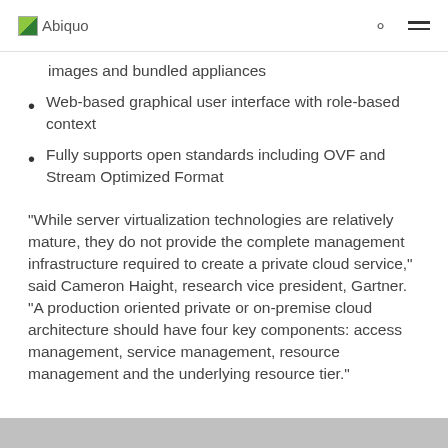Abiquo
images and bundled appliances
Web-based graphical user interface with role-based context
Fully supports open standards including OVF and Stream Optimized Format
“While server virtualization technologies are relatively mature, they do not provide the complete management infrastructure required to create a private cloud service,” said Cameron Haight, research vice president, Gartner. “A production oriented private or on-premise cloud architecture should have four key components: access management, service management, resource management and the underlying resource tier.”